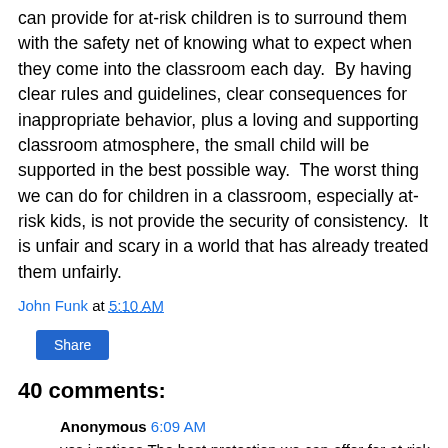can provide for at-risk children is to surround them with the safety net of knowing what to expect when they come into the classroom each day.  By having clear rules and guidelines, clear consequences for inappropriate behavior, plus a loving and supporting classroom atmosphere, the small child will be supported in the best possible way.  The worst thing we can do for children in a classroom, especially at-risk kids, is not provide the security of consistency.  It is unfair and scary in a world that has already treated them unfairly.
John Funk at 5:10 AM
Share
40 comments:
Anonymous 6:09 AM
yes i notices The best protection we can offer for at risk kids is to involve them with the protection net of understanding what to determine when they come into the